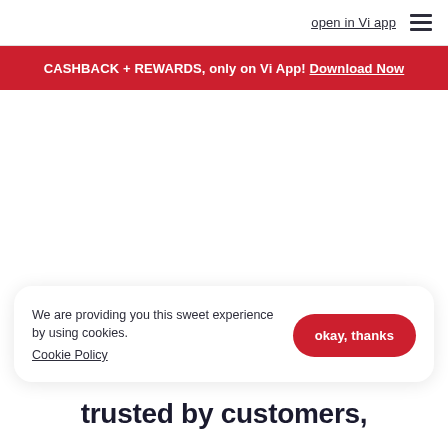open in Vi app
CASHBACK + REWARDS, only on Vi App! Download Now
We are providing you this sweet experience by using cookies. Cookie Policy
trusted by customers,